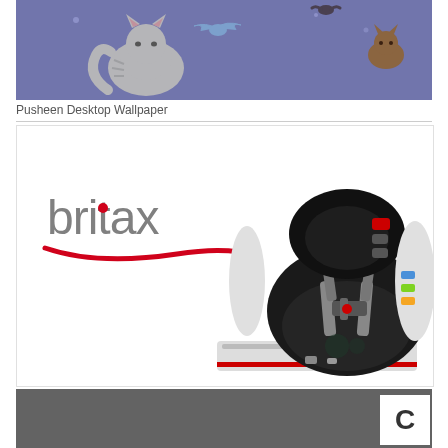[Figure (illustration): Pusheen desktop wallpaper strip - purple/blue background with cartoon Pusheen cat characters and small animal figures]
Pusheen Desktop Wallpaper
[Figure (photo): Britax car seat product photo - black and white convertible car seat with harness system, shown on white background with Britax logo on the left]
[Figure (illustration): Dark gray strip at bottom of page with white letter C visible on the right side]